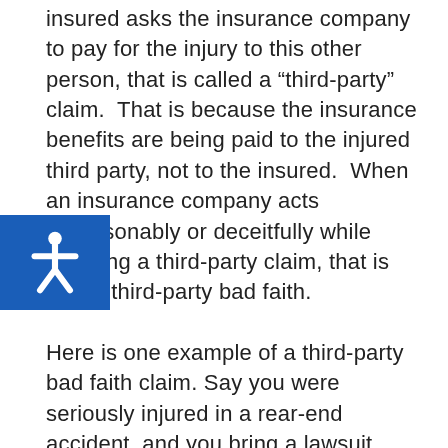insured asks the insurance company to pay for the injury to this other person, that is called a “third-party” claim. That is because the insurance benefits are being paid to the injured third party, not to the insured. When an insurance company acts unreasonably or deceitfully while handling a third-party claim, that is called third-party bad faith.

Here is one example of a third-party bad faith claim. Say you were seriously injured in a rear-end accident, and you bring a lawsuit against the at-fault driver for your medical bills and property damage. The at-fault driver’s insurance company refuses to settle your claim within the policy limits, and the case goes to trial. The resulting judgment in your favor far exceeds the at-fault driver’s liability policy limits, and the at-fault driver is now personally responsible for paying